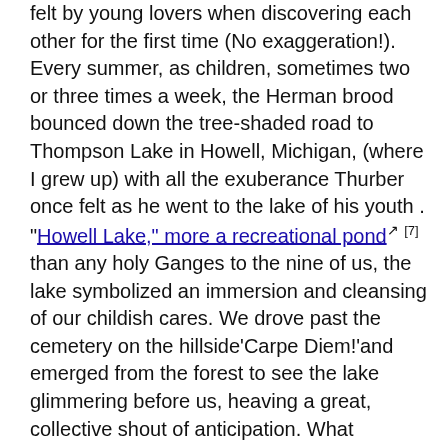felt by young lovers when discovering each other for the first time (No exaggeration!). Every summer, as children, sometimes two or three times a week, the Herman brood bounced down the tree-shaded road to Thompson Lake in Howell, Michigan, (where I grew up) with all the exuberance Thurber once felt as he went to the lake of his youth . "Howell Lake," more a recreational pond [7] than any holy Ganges to the nine of us, the lake symbolized an immersion and cleansing of our childish cares. We drove past the cemetery on the hillside'Carpe Diem!'and emerged from the forest to see the lake glimmering before us, heaving a great, collective shout of anticipation. What foolishness convinces us that concrete and steel equates to great centers of civilization, when the wild water within our selves'we're about 70% water'wants nothing more than to hasten to a lake, any lake, and immerse our bodies? I imagine Jesus in his boat, enjoying a breeze on Lake Galilee, felt more peace of mind than he ever did on shore, squabbling with those Pharisees and high priests. Man made the places and charged us all a fee; God made the spaces and gave them all for free. Thank God for the lakes, rivers and streams. Thank God for the waterfalls and mountain freshets. Thank God for the nameless ponds and bogs and tidal bays, all of them amusement parks of nature, all of them a greater part of inner selves than any concrete city ever could be. By God I wanted to